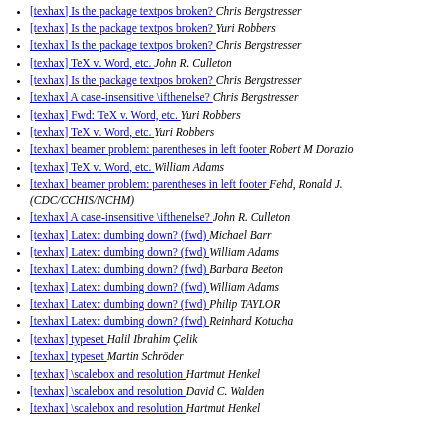[texhax] Is the package textpos broken?  Chris Bergstresser
[texhax] Is the package textpos broken?  Yuri Robbers
[texhax] Is the package textpos broken?  Chris Bergstresser
[texhax] TeX v. Word, etc.  John R. Culleton
[texhax] Is the package textpos broken?  Chris Bergstresser
[texhax] A case-insensitive \ifthenelse?  Chris Bergstresser
[texhax] Fwd: TeX v. Word, etc.  Yuri Robbers
[texhax] TeX v. Word, etc.  Yuri Robbers
[texhax] beamer problem: parentheses in left footer  Robert M Dorazio
[texhax] TeX v. Word, etc.  William Adams
[texhax] beamer problem: parentheses in left footer  Fehd, Ronald J. (CDC/CCHIS/NCHM)
[texhax] A case-insensitive \ifthenelse?  John R. Culleton
[texhax] Latex: dumbing down? (fwd)  Michael Barr
[texhax] Latex: dumbing down? (fwd)  William Adams
[texhax] Latex: dumbing down? (fwd)  Barbara Beeton
[texhax] Latex: dumbing down? (fwd)  William Adams
[texhax] Latex: dumbing down? (fwd)  Philip TAYLOR
[texhax] Latex: dumbing down? (fwd)  Reinhard Kotucha
[texhax] typeset  Halil Ibrahim Çelik
[texhax] typeset  Martin Schröder
[texhax] \scalebox and resolution  Hartmut Henkel
[texhax] \scalebox and resolution  David C. Walden
[texhax] \scalebox and resolution  Hartmut Henkel